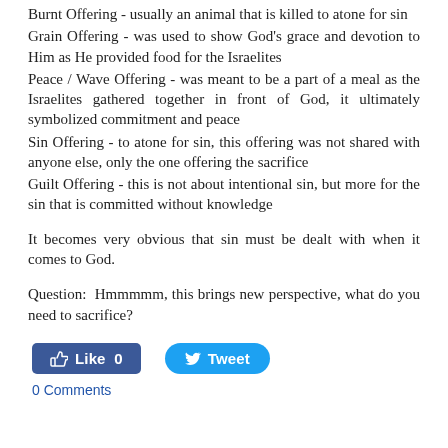Burnt Offering - usually an animal that is killed to atone for sin
Grain Offering - was used to show God's grace and devotion to Him as He provided food for the Israelites
Peace / Wave Offering - was meant to be a part of a meal as the Israelites gathered together in front of God, it ultimately symbolized commitment and peace
Sin Offering - to atone for sin, this offering was not shared with anyone else, only the one offering the sacrifice
Guilt Offering - this is not about intentional sin, but more for the sin that is committed without knowledge
It becomes very obvious that sin must be dealt with when it comes to God.
Question:  Hmmmmm, this brings new perspective, what do you need to sacrifice?
[Figure (other): Social media buttons: Facebook Like (count 0) and Twitter Tweet]
0 Comments